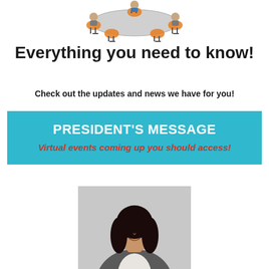[Figure (illustration): Cartoon illustration of people sitting around a meeting table with orange chairs, viewed from above at an angle]
Everything you need to know!
Check out the updates and news we have for you!
PRESIDENT'S MESSAGE
Virtual events coming up you should access!
[Figure (photo): Professional headshot photo of a woman with dark hair wearing a grey blazer over a white blouse, smiling, on a light grey background]